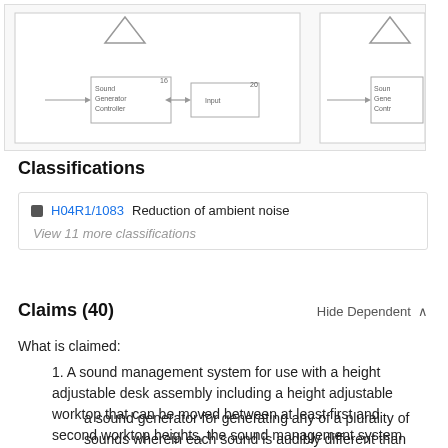[Figure (schematic): Patent diagram showing a sound generator controller connected to an input device, with labeled boxes and arrows. Numbers 16 and 20 visible.]
Classifications
H04R1/1083  Reduction of ambient noise
View 11 more classifications
Claims (40)
Hide Dependent ^
What is claimed:
1. A sound management system for use with a height adjustable desk assembly including a height adjustable worktop that can be moved between at least first and second worktop heights, the sound management system comprising:
a sound generator for generating any of a plurality of sounds wherein each sound is audibly different than the other sounds in the plurality of sounds; and